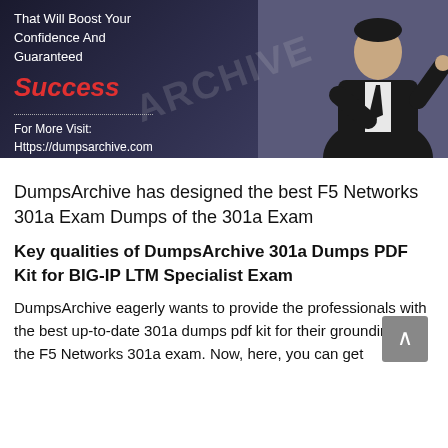[Figure (illustration): Promotional banner for DumpsArchive showing a man in a suit pointing, with text 'That Will Boost Your Confidence And Guaranteed Success For More Visit: Https://dumpsarchive.com' on a dark background]
DumpsArchive has designed the best F5 Networks 301a Exam Dumps of the 301a Exam
Key qualities of DumpsArchive 301a Dumps PDF Kit for BIG-IP LTM Specialist Exam
DumpsArchive eagerly wants to provide the professionals with the best up-to-date 301a dumps pdf kit for their grounding of the F5 Networks 301a exam. Now, here, you can get the best 301a exam dumps preparation material